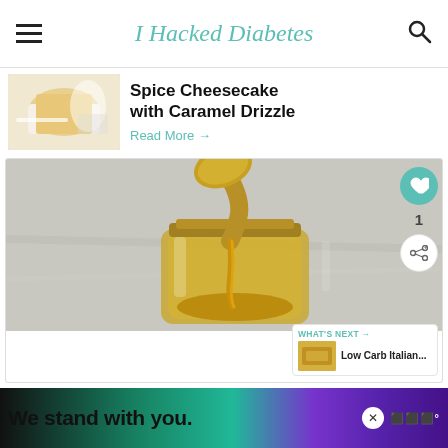I Hacked Diabetes
Spice Cheesecake with Caramel Drizzle
Read More →
[Figure (photo): A spoon pouring golden caramel sauce into a small glass mason jar, viewed from above on a marble surface]
WHAT'S NEXT → Low Carb Italian...
We stand with you.